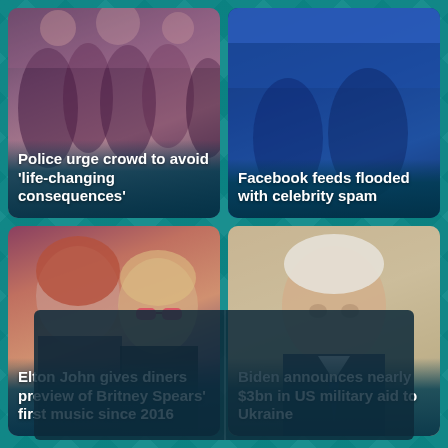[Figure (photo): News card: crowd photo background with text overlay 'Police urge crowd to avoid life-changing consequences']
[Figure (photo): News card: dark blue/Facebook branded background with text overlay 'Facebook feeds flooded with celebrity spam']
[Figure (photo): News card: photo of two people (woman and Elton John with pink glasses) with text overlay 'Elton John gives diners preview of Britney Spears first music since 2016']
[Figure (photo): News card: photo of Joe Biden with text overlay 'Biden announces nearly $3bn in US military aid to Ukraine']
[Figure (screenshot): Dark navy/teal rectangle at the bottom of the screen, partially visible, appears to be a news feed or advertisement unit]